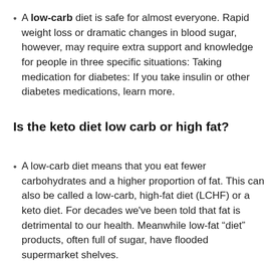A low-carb diet is safe for almost everyone. Rapid weight loss or dramatic changes in blood sugar, however, may require extra support and knowledge for people in three specific situations: Taking medication for diabetes: If you take insulin or other diabetes medications, learn more.
Is the keto diet low carb or high fat?
A low-carb diet means that you eat fewer carbohydrates and a higher proportion of fat. This can also be called a low-carb, high-fat diet (LCHF) or a keto diet. For decades we've been told that fat is detrimental to our health. Meanwhile low-fat “diet” products, often full of sugar, have flooded supermarket shelves.